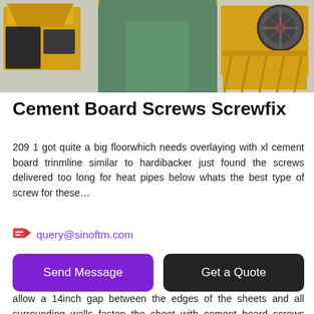[Figure (photo): Industrial machinery photo showing yellow/cream colored crushers or mills in a factory with green-painted floor and yellow lane markings]
Cement Board Screws Screwfix
209 1 got quite a big floorwhich needs overlaying with xl cement board trinmline similar to hardibacker just found the screws delivered too long for heat pipes below whats the best type of screw for these…
query@sinoftm.com
Send Message
Get a Quote
allow a 14inch gap between the edges of the sheets and all surrounding walls fasten the sheet with cement board screws using a drilldriver making sure the screws are flush with the surface of the sheet